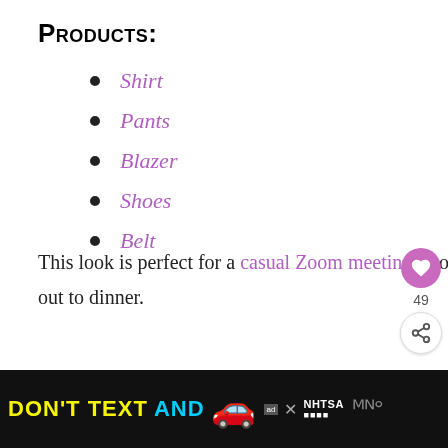Products:
Shirt
Pants
Blazer
Shoes
Belt
This look is perfect for a casual Zoom meeting or office setting; it would even be a great outfit to rock out to dinner.
[Figure (other): Advertisement banner: DON'T TEXT AND [car emoji] ad badge NHTSA logo with stars, close button, and wave icon on black background]